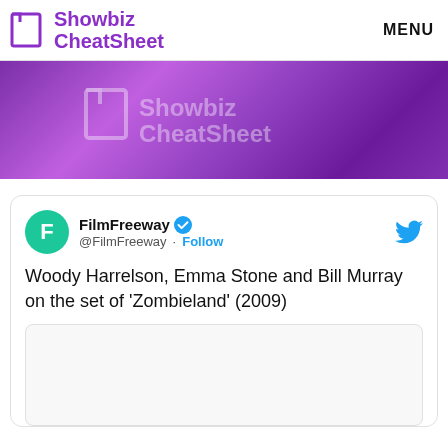Showbiz CheatSheet  MENU
[Figure (photo): Purple gradient banner with Showbiz CheatSheet logo overlay]
[Figure (screenshot): Embedded tweet from @FilmFreeway with verified badge and Follow button. Tweet text: Woody Harrelson, Emma Stone and Bill Murray on the set of 'Zombieland' (2009). Includes a partially visible image below the tweet text.]